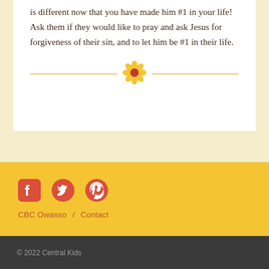is different now that you have made him #1 in your life! Ask them if they would like to pray and ask Jesus for forgiveness of their sin, and to let him be #1 in their life.
[Figure (illustration): Decorative divider with a golden horizontal line on each side and a yellow flower with red center in the middle]
CBC Owasso / Contact
© 2022 Central Kids